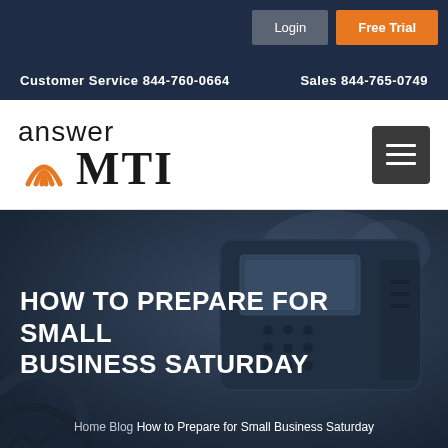Login | Free Trial | Customer Service 844-760-0664 | Sales 844-765-0749
[Figure (logo): Answer MTI logo with orange arc graphic and bold serif MTI text]
[Figure (photo): Close-up photo of an office telephone/desk phone with headset cord, dark blue-tinted overlay, hero banner image]
HOW TO PREPARE FOR SMALL BUSINESS SATURDAY
Home Blog How to Prepare for Small Business Saturday